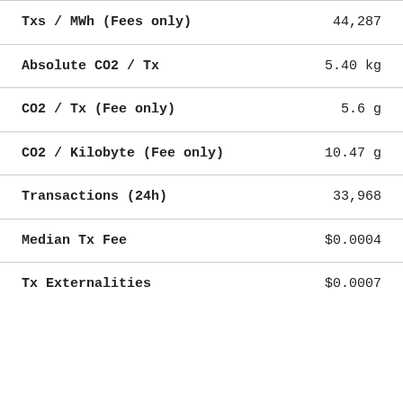| Metric | Value |
| --- | --- |
| Txs / MWh (Fees only) | 44,287 |
| Absolute CO2 / Tx | 5.40 kg |
| CO2 / Tx (Fee only) | 5.6 g |
| CO2 / Kilobyte (Fee only) | 10.47 g |
| Transactions (24h) | 33,968 |
| Median Tx Fee | $0.0004 |
| Tx Externalities | $0.0007 |